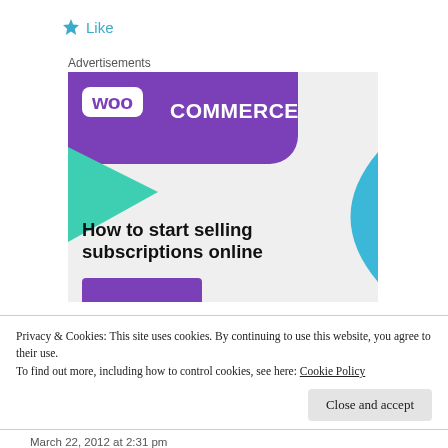[Figure (logo): Star icon followed by Like text in teal/blue color]
Advertisements
[Figure (illustration): WooCommerce advertisement banner showing purple branding, teal triangle, blue arc, and text 'How to start selling subscriptions online']
Privacy & Cookies: This site uses cookies. By continuing to use this website, you agree to their use.
To find out more, including how to control cookies, see here: Cookie Policy
Close and accept
March 22, 2012 at 2:31 pm